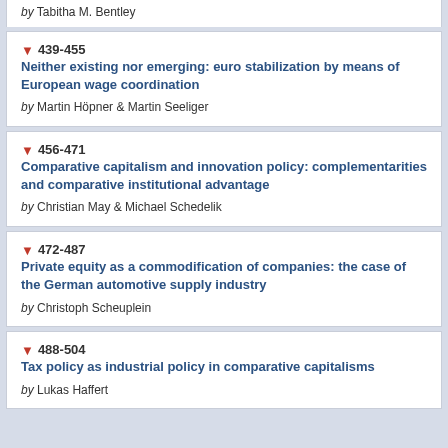by Tabitha M. Bentley
439-455 Neither existing nor emerging: euro stabilization by means of European wage coordination by Martin Höpner & Martin Seeliger
456-471 Comparative capitalism and innovation policy: complementarities and comparative institutional advantage by Christian May & Michael Schedelik
472-487 Private equity as a commodification of companies: the case of the German automotive supply industry by Christoph Scheuplein
488-504 Tax policy as industrial policy in comparative capitalisms by Lukas Haffert